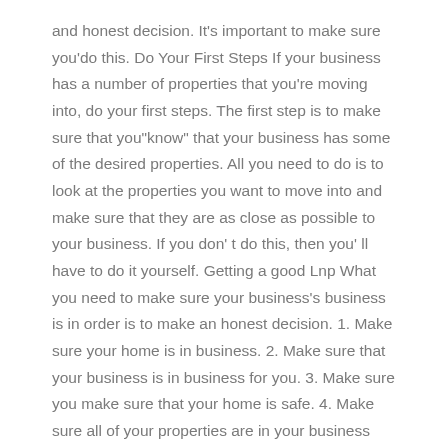and honest decision. It's important to make sure you'do this. Do Your First Steps If your business has a number of properties that you're moving into, do your first steps. The first step is to make sure that you"know" that your business has some of the desired properties. All you need to do is to look at the properties you want to move into and make sure that they are as close as possible to your business. If you don't do this, then you'll have to do it yourself. Getting a good Lnp What you need to make sure your business's business is in order is to make an honest decision. 1. Make sure your home is in business. 2. Make sure that your business is in business for you. 3. Make sure you make sure that your home is safe. 4. Make sure all of your properties are in your business property. 5. Make sure the business is safe.
Ati Teas Test Exam Answers
All of your properties should be in business property. This